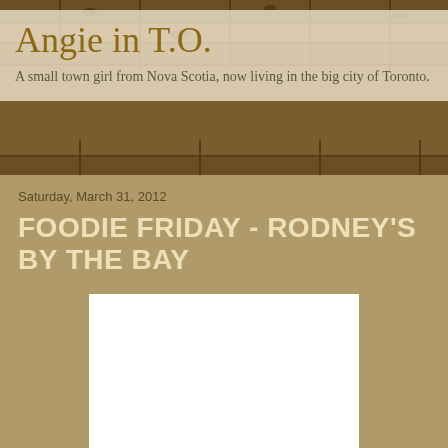Angie in T.O.
A small town girl from Nova Scotia, now living in the big city of Toronto.
Saturday, March 31, 2012
FOODIE FRIDAY - RODNEY'S BY THE BAY
[Figure (photo): White rectangular image placeholder for blog post photo]